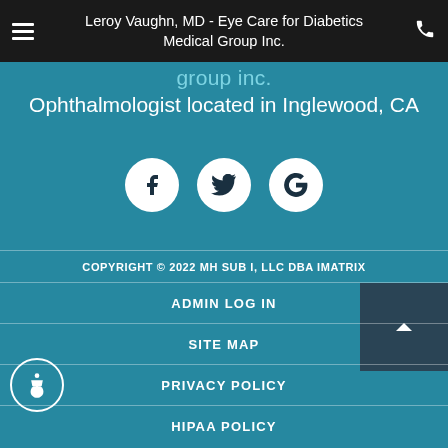Leroy Vaughn, MD - Eye Care for Diabetics Medical Group Inc.
group inc.
Ophthalmologist located in Inglewood, CA
[Figure (infographic): Three social media icon circles: Facebook (f), Twitter (bird), Google (G)]
COPYRIGHT © 2022 MH SUB I, LLC DBA IMATRIX
ADMIN LOG IN
SITE MAP
PRIVACY POLICY
HIPAA POLICY